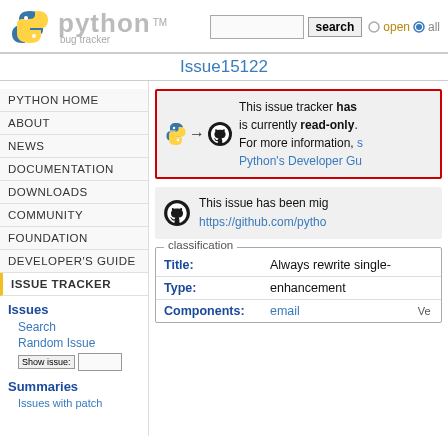Python Bug Tracker — Issue15122
PYTHON HOME
ABOUT
NEWS
DOCUMENTATION
DOWNLOADS
COMMUNITY
FOUNDATION
DEVELOPER'S GUIDE
ISSUE TRACKER
Issues
Search
Random Issue
Summaries
This issue tracker has been migrated and is currently read-only. For more information, see Python's Developer Guide.
This issue has been migrated to https://github.com/pytho...
classification
| Title: | Always rewrite single- |
| Type: | enhancement |
| Components: | email | Ve |